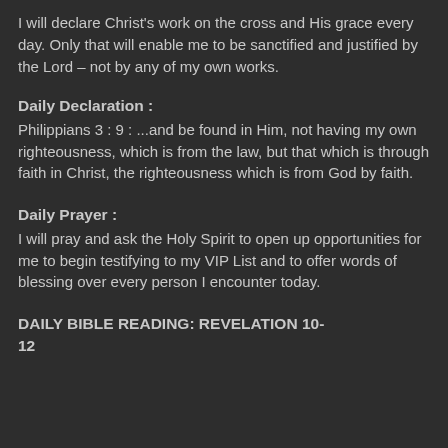I will declare Christ's work on the cross and His grace every day. Only that will enable me to be sanctified and justified by the Lord – not by any of my own works.
Daily Declaration :
Philippians 3 : 9 : ...and be found in Him, not having my own righteousness, which is from the law, but that which is through faith in Christ, the righteousness which is from God by faith.
Daily Prayer :
I will pray and ask the Holy Spirit to open up opportunities for me to begin testifying to my VIP List and to offer words of blessing over every person I encounter today.
DAILY BIBLE READING: REVELATION 10-12